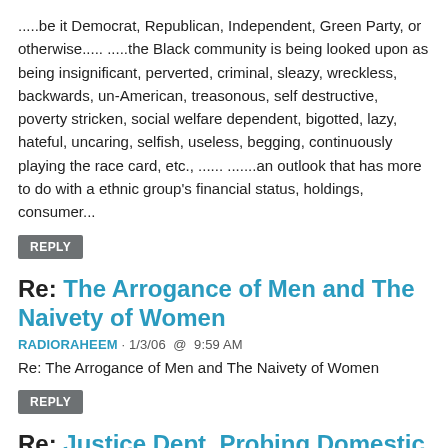.....be it Democrat, Republican, Independent, Green Party, or otherwise..... .....the Black community is being looked upon as being insignificant, perverted, criminal, sleazy, wreckless, backwards, un-American, treasonous, self destructive, poverty stricken, social welfare dependent, bigotted, lazy, hateful, uncaring, selfish, useless, begging, continuously playing the race card, etc., ...... .......an outlook that has more to do with a ethnic group's financial status, holdings, consumer...
REPLY
Re: The Arrogance of Men and The Naivety of Women
RADIORAHEEM · 1/3/06 @ 9:59 AM
Re: The Arrogance of Men and The Naivety of Women
REPLY
Re: Justice Dept. Probing Domestic Spying Leak
BLACKSANCTION · 1/3/06 @ 10:14 AM
It is can be either- whatever direction they are given re strategic policy of the government of the day. The part that everyone likes to miss is that the interception of telcom in and out of the US has been going on for